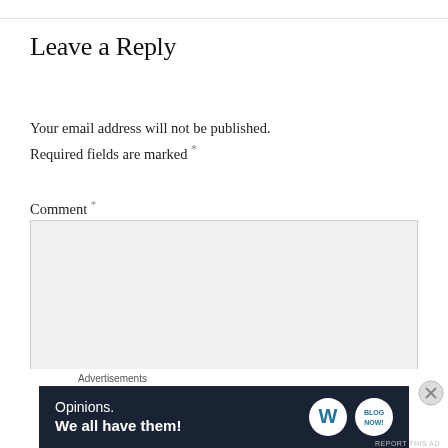Leave a Reply
Your email address will not be published. Required fields are marked *
Comment *
[Figure (other): Empty comment text area input box with light gray background]
Advertisements
[Figure (other): WordPress advertisement banner with dark navy background showing 'Opinions. We all have them!' with WordPress and blog logo icons]